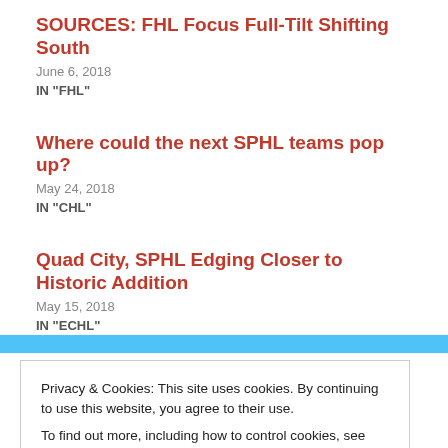SOURCES: FHL Focus Full-Tilt Shifting South
June 6, 2018
IN "FHL"
Where could the next SPHL teams pop up?
May 24, 2018
IN "CHL"
Quad City, SPHL Edging Closer to Historic Addition
May 15, 2018
IN "ECHL"
Privacy & Cookies: This site uses cookies. By continuing to use this website, you agree to their use.
To find out more, including how to control cookies, see here: Cookie Policy
Close and accept